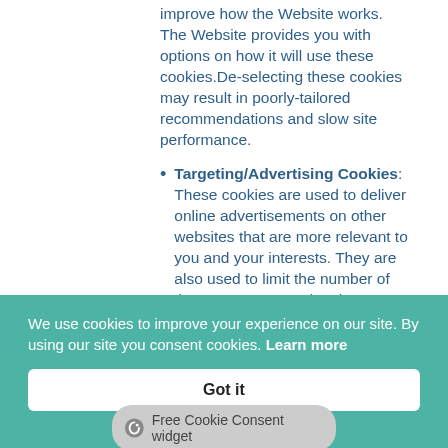improve how the Website works. The Website provides you with options on how it will use these cookies. De-selecting these cookies may result in poorly-tailored recommendations and slow site performance.
Targeting/Advertising Cookies: These cookies are used to deliver online advertisements on other websites that are more relevant to you and your interests. They are also used to limit the number of times you see an advertisement as well as help measure the effectiveness of the advertising campaigns. The cookies remember that you have visited the
We use cookies to improve your experience on our site. By using our site you consent cookies. Learn more
Got it
Free Cookie Consent widget